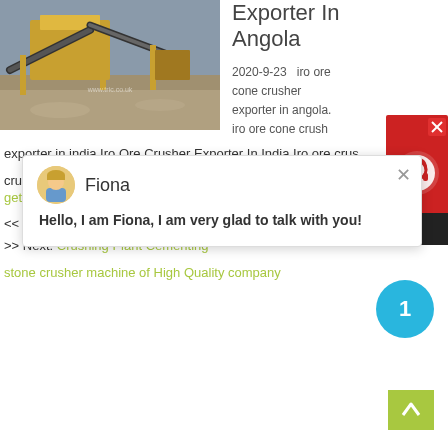[Figure (photo): Industrial ore cone crusher machinery with yellow/orange equipment and conveyor belts at a mining site]
Exporter In Angola
2020-9-23   iro ore cone crusher exporter in angola. iro ore cone crush exporter in india.Iro Ore Crusher Exporter In India Iro ore crus
[Figure (screenshot): Chat popup with avatar of Fiona saying Hello, I am Fiona, I am very glad to talk with you!]
crushing machine which
get price
<< Previous: Spiral Chute Concentration You Tube
>> Next: Crushing Plant Cementing
stone crusher machine of High Quality company